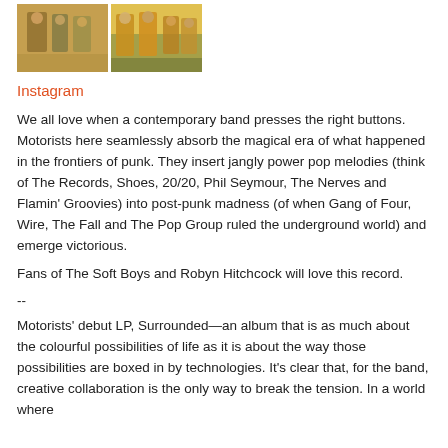[Figure (photo): Two side-by-side photos of a band/group of people, the left showing people against a yellow background, the right showing people in yellow jackets outdoors.]
Instagram
We all love when a contemporary band presses the right buttons. Motorists here seamlessly absorb the magical era of what happened in the frontiers of punk. They insert jangly power pop melodies (think of The Records, Shoes, 20/20, Phil Seymour, The Nerves and Flamin' Groovies) into post-punk madness (of when Gang of Four, Wire, The Fall and The Pop Group ruled the underground world) and emerge victorious.
Fans of The Soft Boys and Robyn Hitchcock will love this record.
--
Motorists' debut LP, Surrounded—an album that is as much about the colourful possibilities of life as it is about the way those possibilities are boxed in by technologies. It's clear that, for the band, creative collaboration is the only way to break the tension. In a world where